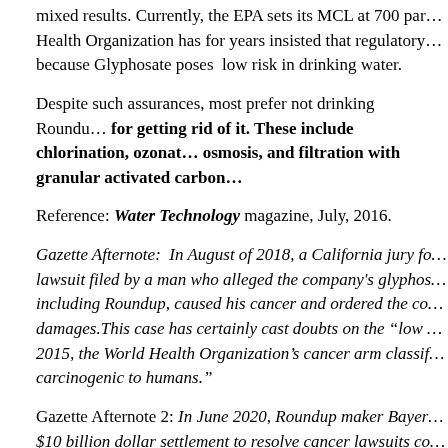mixed results. Currently, the EPA sets its MCL at 700 par... Health Organization has for years insisted that regulatory... because Glyphosate poses low risk in drinking water.
Despite such assurances, most prefer not drinking Roundu... for getting rid of it. These include chlorination, ozonat... osmosis, and filtration with granular activated carbon...
Reference: Water Technology magazine, July, 2016.
Gazette Afternote: In August of 2018, a California jury fo... lawsuit filed by a man who alleged the company's glyphos... including Roundup, caused his cancer and ordered the co... damages.This case has certainly cast doubts on the “low ... 2015, the World Health Organization’s cancer arm classif... carcinogenic to humans.”
Gazette Afternote 2: In June 2020, Roundup maker Bayer... $10 billion dollar settlement to resolve cancer lawsuits co... Roundup. This after Bayer faced tens of thousands of clai... ingredient in RoundUp– glyphosate– to increased risk of ... Lymphoma.
The lesson here, of course, is that experts, including the W...